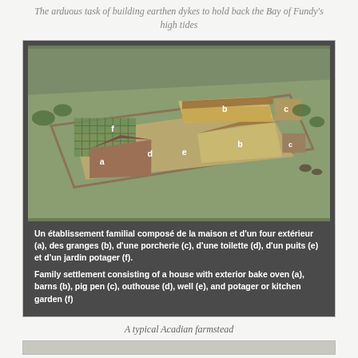The arduous task of building earthen dykes to hold back the Bay of Fundy's high tides
[Figure (photo): Aerial view of a reconstructed Acadian farmstead showing labeled buildings: a (house with exterior bake oven), b (barns), c (pig pen), d (outhouse), e (well), f (potager/kitchen garden). Text overlay in French and English describes the settlement components.]
A typical Acadian farmstead